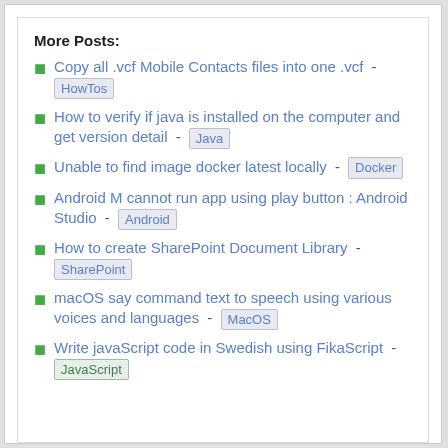More Posts:
Copy all .vcf Mobile Contacts files into one .vcf - HowTos
How to verify if java is installed on the computer and get version detail - Java
Unable to find image docker latest locally - Docker
Android M cannot run app using play button : Android Studio - Android
How to create SharePoint Document Library - SharePoint
macOS say command text to speech using various voices and languages - MacOS
Write javaScript code in Swedish using FikaScript - JavaScript